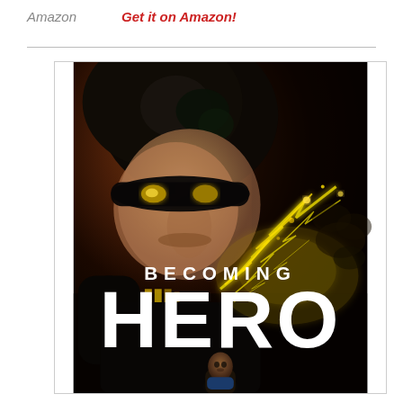Amazon    Get it on Amazon!
[Figure (illustration): Book cover for 'Becoming Hero' showing a masked superhero figure with dark hair, glowing yellow eyes, black mask, and a yellow lightning bolt effect. The title 'BECOMING' appears in white uppercase letters, and 'HERO' appears in very large white block letters below. A smaller figure appears at the bottom center of the cover.]